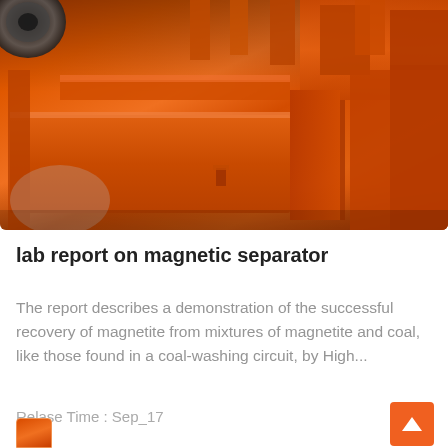[Figure (photo): Orange/red industrial magnetic separator machinery photographed in a workshop or manufacturing facility. Large orange-painted metal equipment with drum and frame components visible.]
lab report on magnetic separator
The report describes a demonstration of the successful recovery of magnetite from mixtures of magnetite and coal, like those found in a coal-washing circuit, by High...
Relase Time : Sep_17